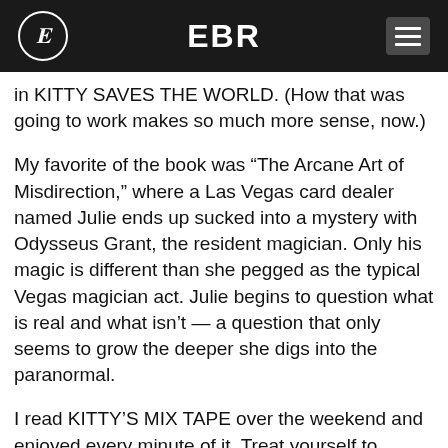EBR
in KITTY SAVES THE WORLD. (How that was going to work makes so much more sense, now.)
My favorite of the book was “The Arcane Art of Misdirection,” where a Las Vegas card dealer named Julie ends up sucked into a mystery with Odysseus Grant, the resident magician. Only his magic is different than she pegged as the typical Vegas magician act. Julie begins to question what is real and what isn’t — a question that only seems to grow the deeper she digs into the paranormal.
I read KITTY’S MIX TAPE over the weekend and enjoyed every minute of it. Treat yourself to something fun.
Recommended Age: 12+